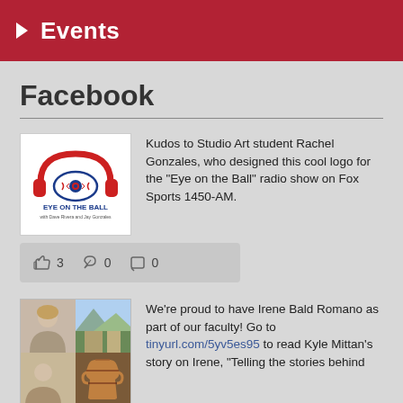Events
Facebook
Kudos to Studio Art student Rachel Gonzales, who designed this cool logo for the "Eye on the Ball" radio show on Fox Sports 1450-AM.
[Figure (logo): Eye on the Ball logo with headphones and eye graphic]
👍 3  ↪ 0  💬 0
We're proud to have Irene Bald Romano as part of our faculty! Go to tinyurl.com/5yv5es95 to read Kyle Mittan's story on Irene, "Telling the stories behind
[Figure (photo): Collage of photos including a woman and a Greek vase]
👍 8  ↪ 1  💬 0